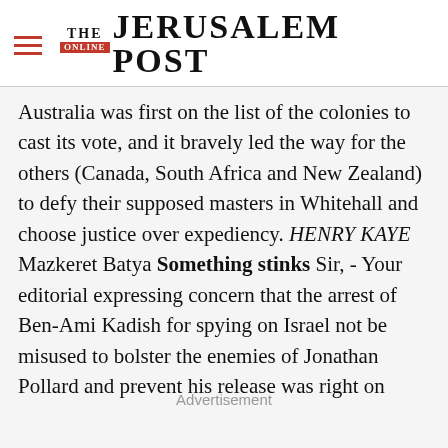THE JERUSALEM POST
Australia was first on the list of the colonies to cast its vote, and it bravely led the way for the others (Canada, South Africa and New Zealand) to defy their supposed masters in Whitehall and choose justice over expediency. HENRY KAYE Mazkeret Batya Something stinks Sir, - Your editorial expressing concern that the arrest of Ben-Ami Kadish for spying on Israel not be misused to bolster the enemies of Jonathan Pollard and prevent his release was right on
Advertisement